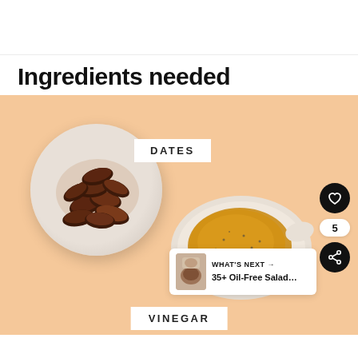Ingredients needed
[Figure (photo): Photo of a white plate with dates (dried fruit) on a peach/salmon background, labeled DATES. A white ceramic dish with golden vinegar on the same background, labeled VINEGAR. UI elements: heart button, share button, count 5, and a 'WHAT'S NEXT' card showing '35+ Oil-Free Salad...']